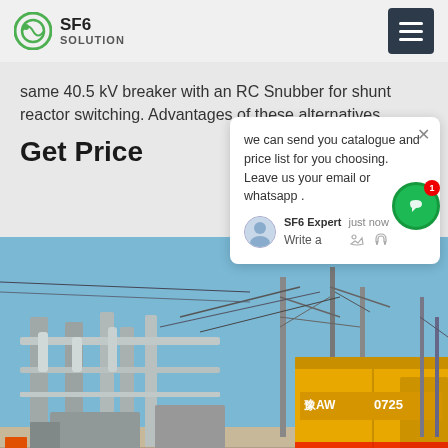SF6 SOLUTION
same 40.5 kV breaker with an RC Snubber for shunt reactor switching. Advantages of these alternatives
Get Price
we can send you catalogue and price list for you choosing.
Leave us your email or whatsapp .
SF6 Expert    just now
Write a
[Figure (photo): Electrical substation with high-voltage SF6 circuit breakers and equipment, yellow truck with license plate '豫AW 0725' in foreground]